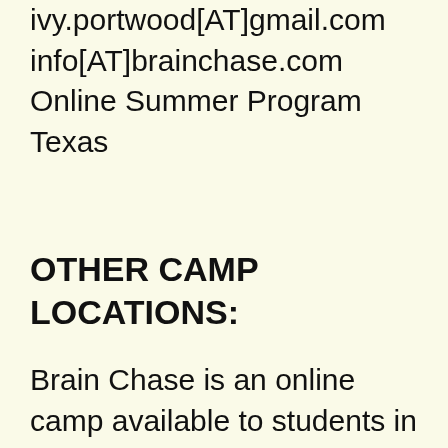ivy.portwood[AT]gmail.com
info[AT]brainchase.com
Online Summer Program
Texas
OTHER CAMP LOCATIONS:
Brain Chase is an online camp available to students in grades 2-8 across the US.